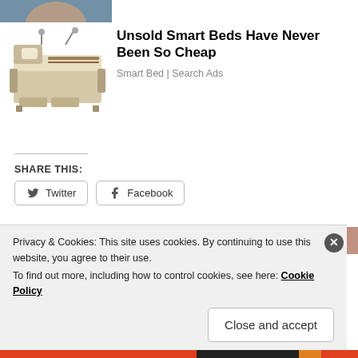[Figure (photo): Partial photo of a person at the top of the page]
[Figure (photo): Advertisement image of a smart bed (beige/tan luxury bed with built-in features)]
Unsold Smart Beds Have Never Been So Cheap
Smart Bed | Search Ads
SHARE THIS:
Twitter
Facebook
Like
Privacy & Cookies: This site uses cookies. By continuing to use this website, you agree to their use.
To find out more, including how to control cookies, see here: Cookie Policy
Close and accept